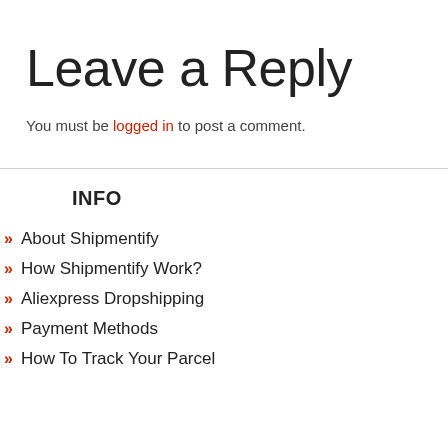Leave a Reply
You must be logged in to post a comment.
INFO
» About Shipmentify
» How Shipmentify Work?
» Aliexpress Dropshipping
» Payment Methods
» How To Track Your Parcel